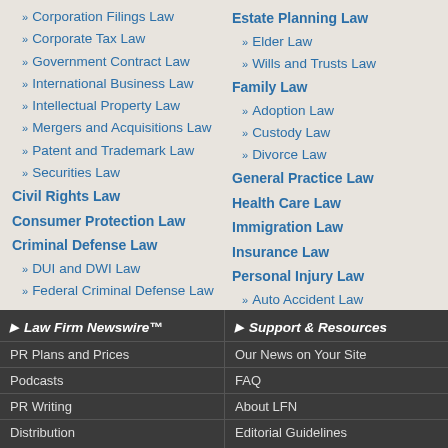» Corporation Filings Law
» Corporate Tax Law
» Government Contract Law
» International Business Law
» Intellectual Property Law
» Mergers and Acquisitions Law
» Patent and Trademark Law
» Securities Law
Civil Rights Law
Consumer Protection Law
Criminal Defense Law
» DUI and DWI Law
» Federal Criminal Defense Law
Estate Planning Law
» Elder Law
» Wills and Trusts Law
Family Law
» Adoption Law
» Custody Law
» Divorce Law
General Practice Law
Health Care Law
Immigration Law
Insurance Law
Personal Injury Law
» Auto Accident Law
▶ Law Firm Newswire™
PR Plans and Prices
Podcasts
PR Writing
Distribution
▶ Support & Resources
Our News on Your Site
FAQ
About LFN
Editorial Guidelines